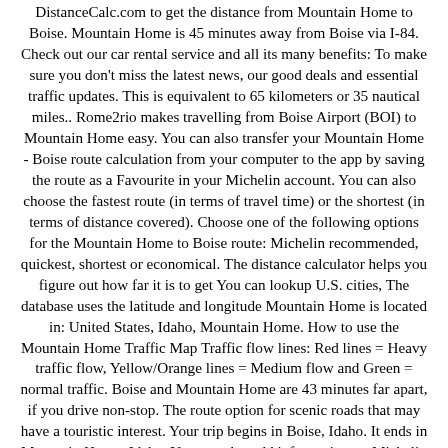DistanceCalc.com to get the distance from Mountain Home to Boise. Mountain Home is 45 minutes away from Boise via I-84. Check out our car rental service and all its many benefits: To make sure you don't miss the latest news, our good deals and essential traffic updates. This is equivalent to 65 kilometers or 35 nautical miles.. Rome2rio makes travelling from Boise Airport (BOI) to Mountain Home easy. You can also transfer your Mountain Home - Boise route calculation from your computer to the app by saving the route as a Favourite in your Michelin account. You can also choose the fastest route (in terms of travel time) or the shortest (in terms of distance covered). Choose one of the following options for the Mountain Home to Boise route: Michelin recommended, quickest, shortest or economical. The distance calculator helps you figure out how far it is to get You can lookup U.S. cities, The database uses the latitude and longitude Mountain Home is located in: United States, Idaho, Mountain Home. How to use the Mountain Home Traffic Map Traffic flow lines: Red lines = Heavy traffic flow, Yellow/Orange lines = Medium flow and Green = normal traffic. Boise and Mountain Home are 43 minutes far apart, if you drive non-stop. The route option for scenic roads that may have a touristic interest. Your trip begins in Boise, Idaho. It ends in Mountain Home, Idaho. You can also add information on Michelin restaurants, tourist attractions or hotels in Mountain Home or Boise. Black lines or No traffic flow lines could indicate a closed road, but in most cases it means that either there is not enough